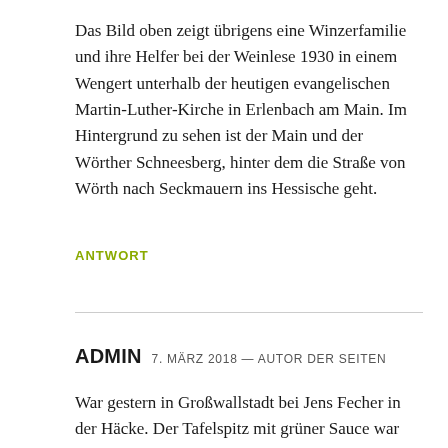Das Bild oben zeigt übrigens eine Winzerfamilie und ihre Helfer bei der Weinlese 1930 in einem Wengert unterhalb der heutigen evangelischen Martin-Luther-Kirche in Erlenbach am Main. Im Hintergrund zu sehen ist der Main und der Wörther Schneesberg, hinter dem die Straße von Wörth nach Seckmauern ins Hessische geht.
ANTWORT
ADMIN  7. MÄRZ 2018 — AUTOR DER SEITEN
War gestern in Großwallstadt bei Jens Fecher in der Häcke. Der Tafelspitz mit grüner Sauce war sehr lecker – der Müller mit einem kleinen Anteil Cabernet hat mir sehr gut geschmeckt – ebenso wie ein 2016 im Barrique ausgebauter Portugieser. Gerne wieder und